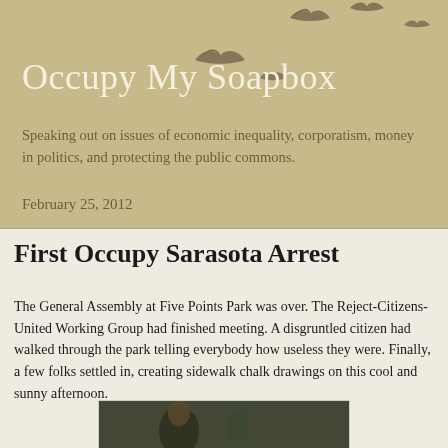Occupy My Soapbox
Speaking out on issues of economic inequality, corporatism, money in politics, and protecting the public commons.
February 25, 2012
First Occupy Sarasota Arrest
The General Assembly at Five Points Park was over. The Reject-Citizens-United Working Group had finished meeting. A disgruntled citizen had walked through the park telling everybody how useless they were. Finally, a few folks settled in, creating sidewalk chalk drawings on this cool and sunny afternoon.
[Figure (photo): A photograph of a person sitting outdoors, possibly at a park or cafe setting.]